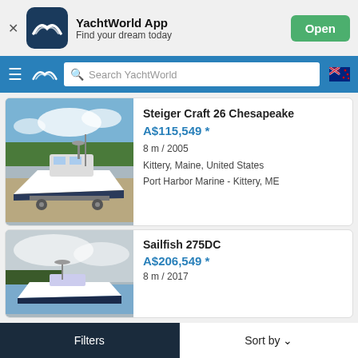[Figure (screenshot): YachtWorld App banner with icon, name, tagline and Open button]
[Figure (screenshot): Navigation bar with hamburger menu, YachtWorld logo, search bar and NZ flag]
[Figure (photo): Photo of Steiger Craft 26 Chesapeake boat on a trailer in a parking lot]
Steiger Craft 26 Chesapeake
A$115,549 *
8 m / 2005
Kittery, Maine, United States
Port Harbor Marine - Kittery, ME
[Figure (photo): Photo of Sailfish 275DC boat]
Sailfish 275DC
A$206,549 *
8 m / 2017
Filters    Sort by